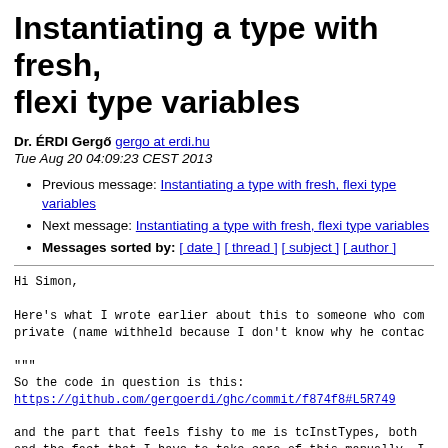Instantiating a type with fresh, flexi type variables
Dr. ÉRDI Gergő gergo at erdi.hu
Tue Aug 20 04:09:23 CEST 2013
Previous message: Instantiating a type with fresh, flexi type variables
Next message: Instantiating a type with fresh, flexi type variables
Messages sorted by: [ date ] [ thread ] [ subject ] [ author ]
Hi Simon,

Here's what I wrote earlier about this to someone who com private (name withheld because I don't know why he contac

"""
So the code in question is this:
https://github.com/gergoerdi/ghc/commit/f874f8#L5R749

and the part that feels fishy to me is tcInstTypes, both and the fact that I have to take care of this manually. I solution would involve doing something differently in